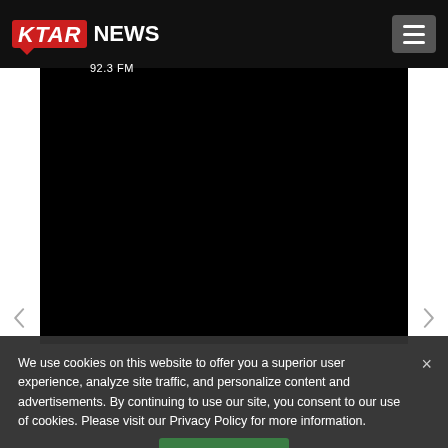[Figure (logo): KTAR News 92.3 FM logo with red KTAR box and white NEWS text]
[Figure (screenshot): Black video/media player area with left and right navigation arrows]
We use cookies on this website to offer you a superior user experience, analyze site traffic, and personalize content and advertisements. By continuing to use our site, you consent to our use of cookies. Please visit our Privacy Policy for more information.